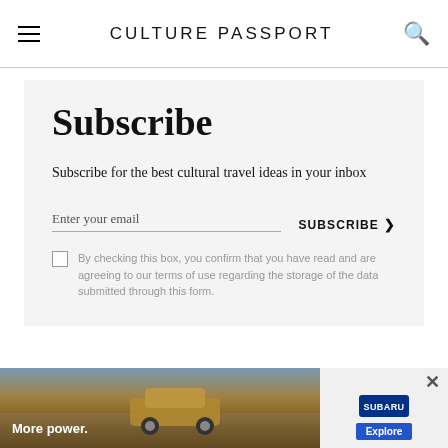CULTURE PASSPORT
Subscribe
Subscribe for the best cultural travel ideas in your inbox
Enter your email
SUBSCRIBE
By checking this box, you confirm that you have read and are agreeing to our terms of use regarding the storage of the data submitted through this form.
[Figure (screenshot): Advertisement banner showing a Subaru vehicle driving off-road with text 'More power.' and Subaru logo with Explore button]